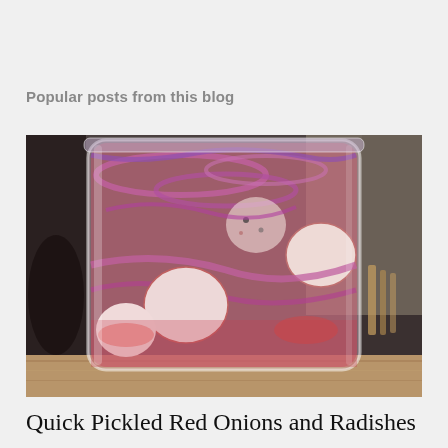Popular posts from this blog
[Figure (photo): A glass jar filled with pickled red onions and radish slices in a pink-red brine, sitting on a wooden surface with a blurred background.]
Quick Pickled Red Onions and Radishes